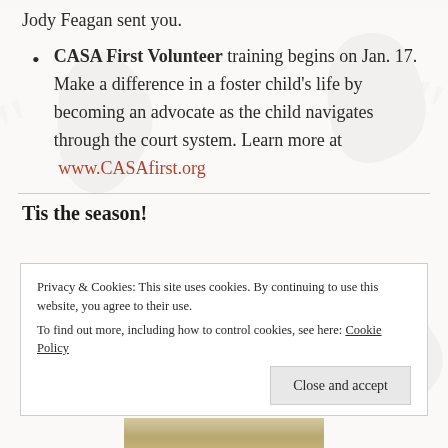Jody Feagan sent you.
CASA First Volunteer training begins on Jan. 17. Make a difference in a foster child's life by becoming an advocate as the child navigates through the court system. Learn more at www.CASAfirst.org
Tis the season!
Privacy & Cookies: This site uses cookies. By continuing to use this website, you agree to their use.
To find out more, including how to control cookies, see here: Cookie Policy
Close and accept